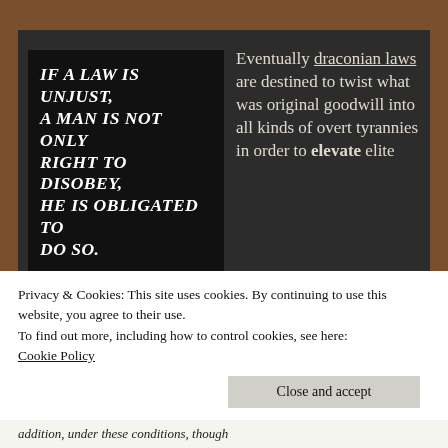[Figure (illustration): Black background image with bold italic white uppercase text: 'IF A LAW IS UNJUST, A MAN IS NOT ONLY RIGHT TO DISOBEY, HE IS OBLIGATED TO DO SO.' with attribution '- Thomas Jefferson' in italic script at bottom right.]
Eventually draconian laws are destined to twist what was original goodwill into all kinds of overt tyrannies in order to elevate elite
Privacy & Cookies: This site uses cookies. By continuing to use this website, you agree to their use.
To find out more, including how to control cookies, see here: Cookie Policy
Close and accept
addition, under these conditions, though